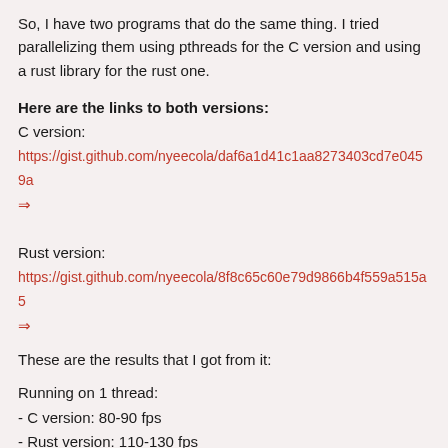So, I have two programs that do the same thing. I tried parallelizing them using pthreads for the C version and using a rust library for the rust one.
Here are the links to both versions:
C version:
https://gist.github.com/nyeecola/daf6a1d41c1aa8273403cd7e0459a
➨
Rust version:
https://gist.github.com/nyeecola/8f8c65c60e79d9866b4f559a515a5
➨
These are the results that I got from it:
Running on 1 thread:
- C version: 80-90 fps
- Rust version: 110-130 fps
Running on 4 threads:
- C version: 370-420 fps
- Rust version: 4100-4500 fps